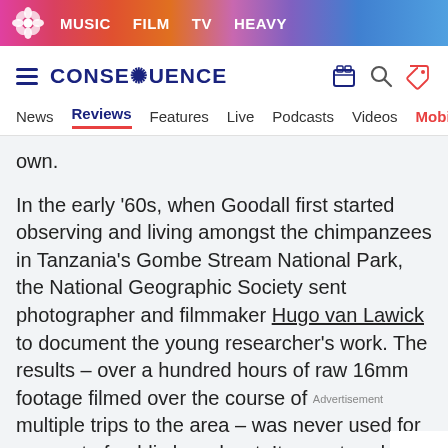MUSIC  FILM  TV  HEAVY
CONSEQUENCE
News  Reviews  Features  Live  Podcasts  Videos  Mobile A
own.
In the early ’60s, when Goodall first started observing and living amongst the chimpanzees in Tanzania’s Gombe Stream National Park, the National Geographic Society sent photographer and filmmaker Hugo van Lawick to document the young researcher’s work. The results – over a hundred hours of raw 16mm footage filmed over the course of multiple trips to the area – was never used for any sort of public broadcast. It was stored in the National